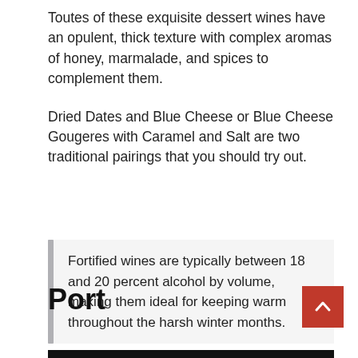Toutes of these exquisite dessert wines have an opulent, thick texture with complex aromas of honey, marmalade, and spices to complement them.
Dried Dates and Blue Cheese or Blue Cheese Gougeres with Caramel and Salt are two traditional pairings that you should try out.
Fortified wines are typically between 18 and 20 percent alcohol by volume, making them ideal for keeping warm throughout the harsh winter months.
Port